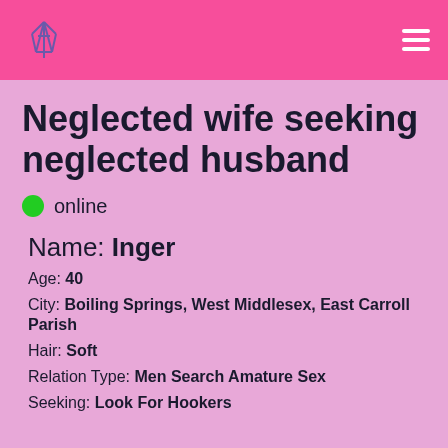Neglected wife seeking neglected husband
online
Name: Inger
Age: 40
City: Boiling Springs, West Middlesex, East Carroll Parish
Hair: Soft
Relation Type: Men Search Amature Sex
Seeking: Look For Hookers